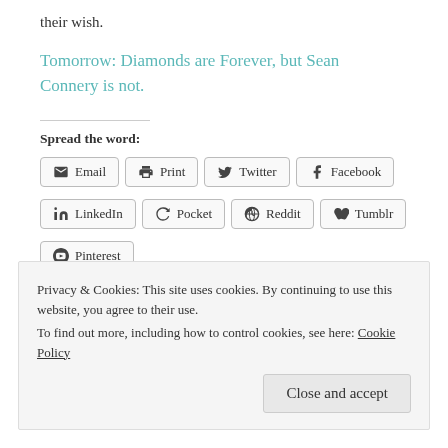their wish.
Tomorrow:  Diamonds are Forever, but Sean Connery is not.
Spread the word:
Email  Print  Twitter  Facebook  LinkedIn  Pocket  Reddit  Tumblr  Pinterest
Privacy & Cookies: This site uses cookies. By continuing to use this website, you agree to their use.
To find out more, including how to control cookies, see here: Cookie Policy